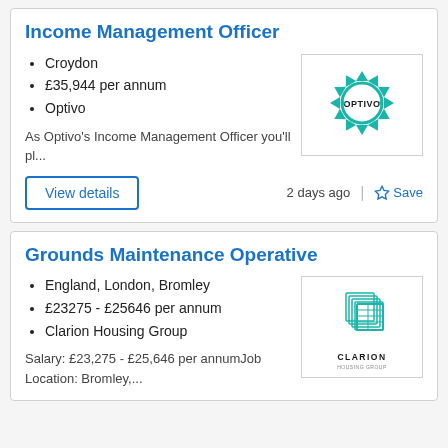Income Management Officer
Croydon
£35,944 per annum
Optivo
As Optivo's Income Management Officer you'll pl...
[Figure (logo): Optivo company logo — teal geometric star/flower shape surrounding a circle with OPTIVO text]
Grounds Maintenance Operative
England, London, Bromley
£23275 - £25646 per annum
Clarion Housing Group
Salary: £23,275 - £25,646 per annumJob Location: Bromley,...
[Figure (logo): Clarion Housing Group logo — teal layered cube/box icon above CLARION HOUSING GROUP text]